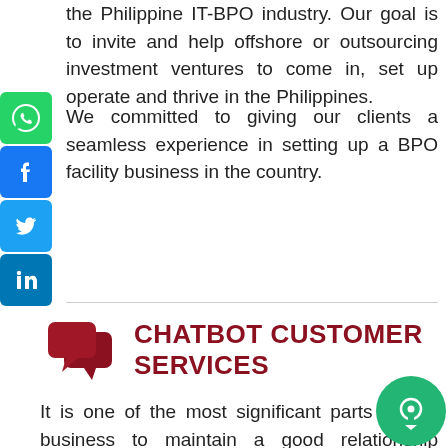the Philippine IT-BPO industry. Our goal is to invite and help offshore or outsourcing investment ventures to come in, set up operate and thrive in the Philippines.
We committed to giving our clients a seamless experience in setting up a BPO facility business in the country.
[Figure (illustration): Social media icon buttons on left side: WhatsApp (green), Facebook (blue), Twitter (blue), LinkedIn (blue)]
CHATBOT CUSTOMER SERVICES
[Figure (illustration): Red chat bubble icon representing chatbot customer services]
It is one of the most significant parts of any business to maintain a good relationship customers. Time and again customer servi proven to be the backbone of a particular
[Figure (illustration): Green circular chat/chatbot button in bottom right corner]